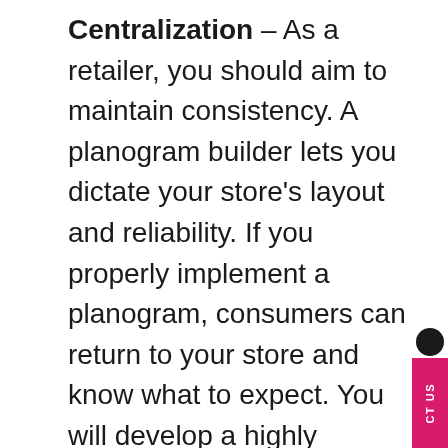Centralization – As a retailer, you should aim to maintain consistency. A planogram builder lets you dictate your store's layout and reliability. If you properly implement a planogram, consumers can return to your store and know what to expect. You will develop a highly regarded reputation as a reliable retailer. In turn, consumers will know where to find a specific range. Likewise, if you own a